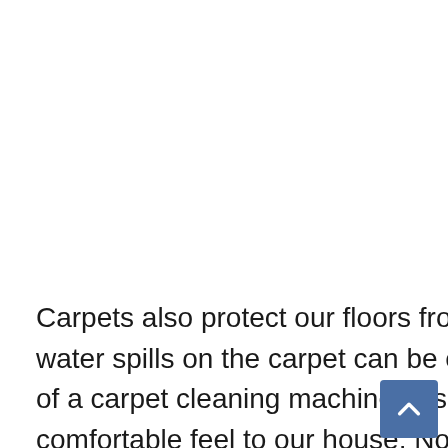Carpets also protect our floors from any kind of stains. For example, water spills on the carpet can be cleaned easily and safely with the help of a carpet cleaning machine. Also, it gives a better and more comfortable feel to our house. Now, how can we choose a perfect carpet for